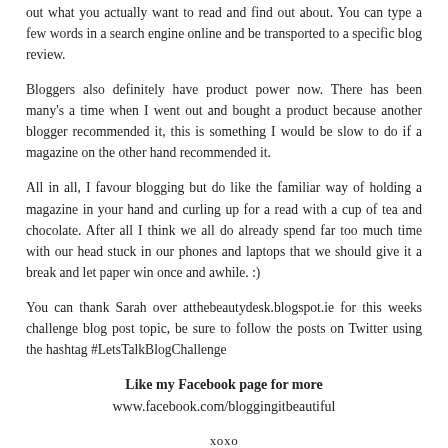out what you actually want to read and find out about. You can type a few words in a search engine online and be transported to a specific blog review.
Bloggers also definitely have product power now. There has been many's a time when I went out and bought a product because another blogger recommended it, this is something I would be slow to do if a magazine on the other hand recommended it.
All in all, I favour blogging but do like the familiar way of holding a magazine in your hand and curling up for a read with a cup of tea and chocolate. After all I think we all do already spend far too much time with our head stuck in our phones and laptops that we should give it a break and let paper win once and awhile. :)
You can thank Sarah over atthebeautydesk.blogspot.ie for this weeks challenge blog post topic, be sure to follow the posts on Twitter using the hashtag #LetsTalkBlogChallenge
Like my Facebook page for more
www.facebook.com/bloggingitbeautiful
xoxo